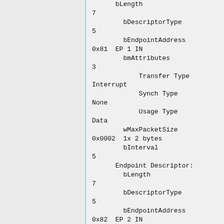bLength
7
        bDescriptorType
5
        bEndpointAddress
0x81  EP 1 IN
        bmAttributes
3
            Transfer Type
Interrupt
            Synch Type
None
            Usage Type
Data
        wMaxPacketSize
0x0002  1x 2 bytes
        bInterval
5
      Endpoint Descriptor:
        bLength
7
        bDescriptorType
5
        bEndpointAddress
0x82  EP 2 IN